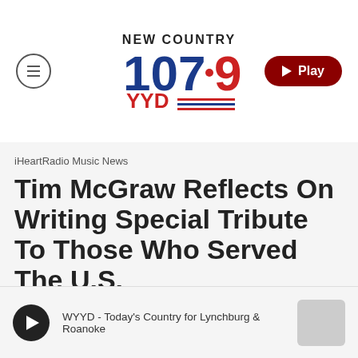[Figure (logo): New Country 107.9 YYD radio station logo with American flag accent]
iHeartRadio Music News
Tim McGraw Reflects On Writing Special Tribute To Those Who Served The U.S.
By Kelly Fisher
WYYD - Today's Country for Lynchburg & Roanoke